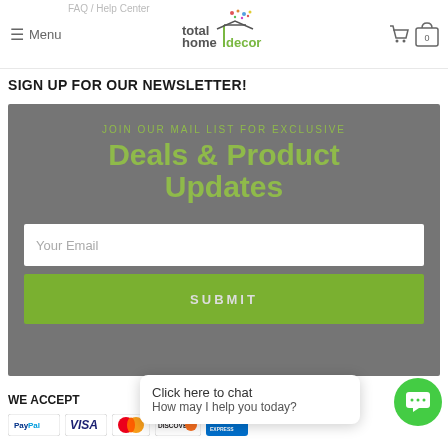FAQ / Help Center | total home decor | Menu
SIGN UP FOR OUR NEWSLETTER!
[Figure (screenshot): Newsletter signup box on gray background with green text 'JOIN OUR MAIL LIST FOR EXCLUSIVE Deals & Product Updates', an email input field, and a green SUBMIT button]
WE ACCEPT
[Figure (screenshot): Chat widget showing 'Click here to chat - How may I help you today?' with green chat button]
[Figure (screenshot): Payment logos: PayPal, Visa, Mastercard, Discover, American Express]